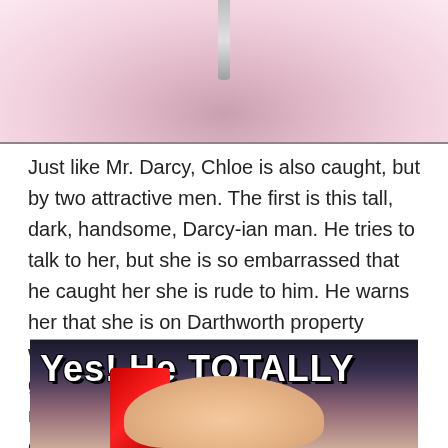[Figure (photo): Cropped photo showing part of a person wearing a pink/light colored top with a zipper visible at the top center]
Just like Mr. Darcy, Chloe is also caught, but by two attractive men. The first is this tall, dark, handsome, Darcy-ian man. He tries to talk to her, but she is so embarrassed that he caught her she is rude to him. He warns her that she is on Darthworth property which is grounds for termination. As she is gathering her belongings and leaving, she runs into Mr. Wrightman. As Chloe tries to explain what was happening, Mr. Wrightman makes a reference to P&P (1995) telling her that he was hoping she would emerge in a white shirt. Chloe is all:
[Figure (photo): Bottom image showing text overlay 'Yes! He TOTALLY' in bold white with black outline, over a photo of a blonde woman, with a red object visible on the left]